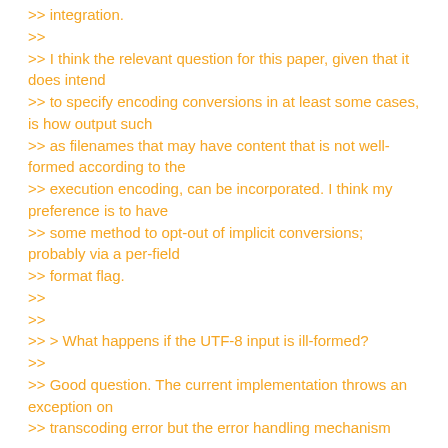>> integration.
>>
>> I think the relevant question for this paper, given that it does intend
>> to specify encoding conversions in at least some cases, is how output such
>> as filenames that may have content that is not well-formed according to the
>> execution encoding, can be incorporated. I think my preference is to have
>> some method to opt-out of implicit conversions; probably via a per-field
>> format flag.
>>
>>
>> > What happens if the UTF-8 input is ill-formed?
>>
>> Good question. The current implementation throws an exception on
>> transcoding error but the error handling mechanism is open for discussion.